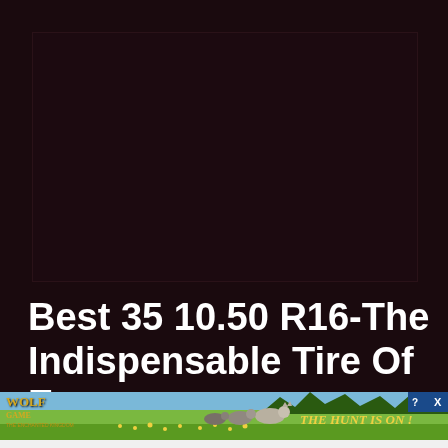[Figure (other): Dark maroon/near-black video thumbnail placeholder area]
Best 35 10.50 R16-The Indispensable Tire Of Every
[Figure (illustration): Wolf Game: The Enchanted Kingdom advertisement banner showing wolves running in a meadow with text 'THE HUNT IS ON!']